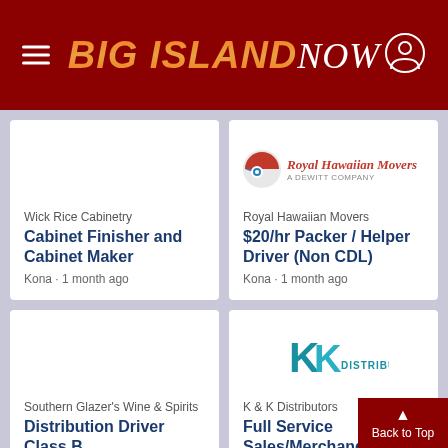Big Island NOW
Wick Rice Cabinetry
Cabinet Finisher and Cabinet Maker
Kona · 1 month ago
[Figure (logo): Royal Hawaiian Movers logo with red and blue circular icon]
Royal Hawaiian Movers
$20/hr Packer / Helper Driver (Non CDL)
Kona · 1 month ago
Southern Glazer's Wine & Spirits
Distribution Driver Class B
Kohala · 3 weeks ago
[Figure (logo): K & K Distributors logo with teal KK letters and DISTRIBUTORS text]
K & K Distributors
Full Service Sales/Merchandiser Representative
Hilo · 2 weeks ago